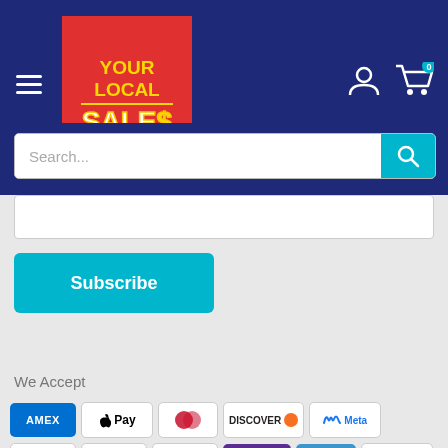[Figure (logo): YourLocalSales.com logo: red background with yellow YOUR LOCAL text and white SALES text with yellow stroke]
Search...
Subscribe
We Accept
[Figure (other): Payment method icons: AMEX, Apple Pay, Diners Club, Discover, Meta Pay, Google Pay, Mastercard, PayPal, OPay, Venmo, VISA]